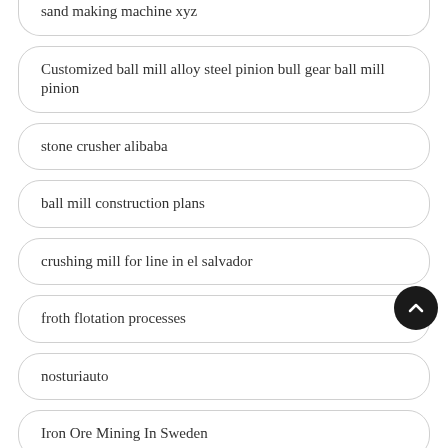sand making machine xyz
Customized ball mill alloy steel pinion bull gear ball mill pinion
stone crusher alibaba
ball mill construction plans
crushing mill for line in el salvador
froth flotation processes
nosturiauto
Iron Ore Mining In Sweden